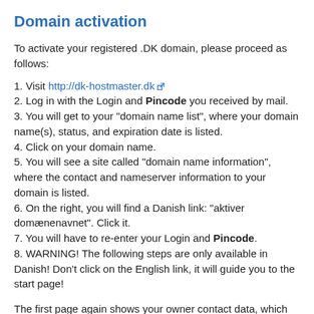Domain activation
To activate your registered .DK domain, please proceed as follows:
1. Visit http://dk-hostmaster.dk
2. Log in with the Login and Pincode you received by mail.
3. You will get to your "domain name list", where your domain name(s), status, and expiration date is listed.
4. Click on your domain name.
5. You will see a site called "domain name information", where the contact and nameserver information to your domain is listed.
6. On the right, you will find a Danish link: "aktiver domænenavnet". Click it.
7. You will have to re-enter your Login and Pincode.
8. WARNING! The following steps are only available in Danish! Don't click on the English link, it will guide you to the start page!
The first page again shows your owner contact data, which you have to confirm. After this confirmation, you will get a red warning message that your contact data will be provided in the official DK-WHOIS. The next page shows